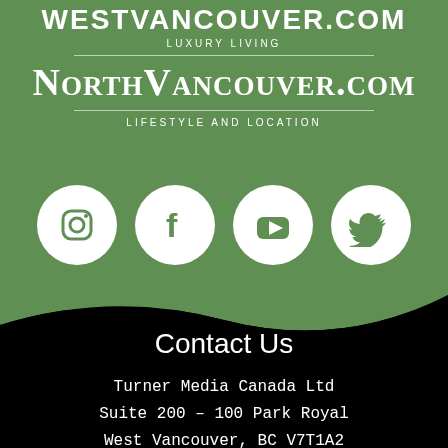WESTVANCOUVER.COM – LUXURY LIVING
NorthVancouver.com – LIFESTYLE AND LOCATION
[Figure (illustration): Four white circular social media icons on green background: Instagram, Facebook, YouTube, Twitter]
Contact Us
Turner Media Canada Ltd
Suite 200 – 100 Park Royal
West Vancouver, BC V7T1A2
604-926-9293